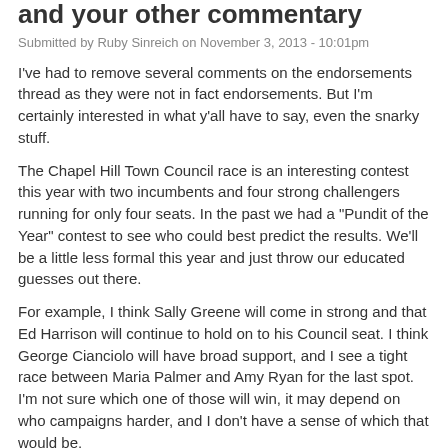and your other commentary
Submitted by Ruby Sinreich on November 3, 2013 - 10:01pm
I've had to remove several comments on the endorsements thread as they were not in fact endorsements. But I'm certainly interested in what y'all have to say, even the snarky stuff.
The Chapel Hill Town Council race is an interesting contest this year with two incumbents and four strong challengers running for only four seats. In the past we had a "Pundit of the Year" contest to see who could best predict the results. We'll be a little less formal this year and just throw our educated guesses out there.
For example, I think Sally Greene will come in strong and that Ed Harrison will continue to hold on to his Council seat. I think George Cianciolo will have broad support, and I see a tight race between Maria Palmer and Amy Ryan for the last spot. I'm not sure which one of those will win, it may depend on who campaigns harder, and I don't have a sense of which that would be.
Let us know who you think SHOULD win in the endorsement thread, and who you think WILL (or won't) win right here.